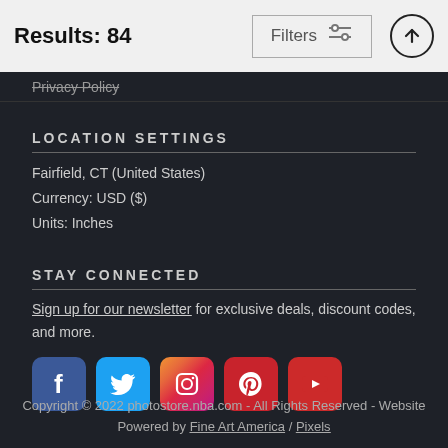Results: 84
Filters
Privacy Policy
LOCATION SETTINGS
Fairfield, CT (United States)
Currency: USD ($)
Units: Inches
STAY CONNECTED
Sign up for our newsletter for exclusive deals, discount codes, and more.
[Figure (illustration): Row of social media icons: Facebook, Twitter, Instagram, Pinterest, YouTube]
Copyright © 2022 photostore.nba.com - All Rights Reserved - Website Powered by Fine Art America / Pixels